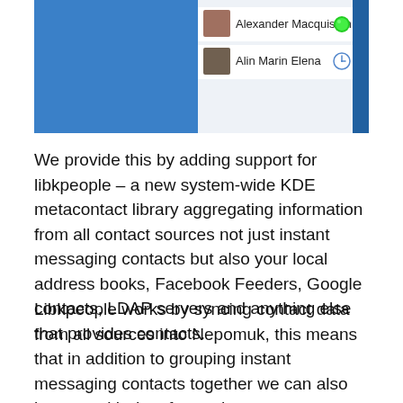[Figure (screenshot): Screenshot of a KDE contact list showing two contacts: Alexander Macquisten (with green online status indicator) and Alin Marin Elena (with a clock/away status indicator), displayed against a blue background.]
We provide this by adding support for libkpeople – a new system-wide KDE metacontact library aggregating information from all contact sources not just instant messaging contacts but also your local address books, Facebook Feeders, Google contacts, LDAP servers and anything else that provides contacts.
Libkpeople works by syncing contact data from all sources into Nepomuk, this means that in addition to grouping instant messaging contacts together we can also interact with data from other sources.